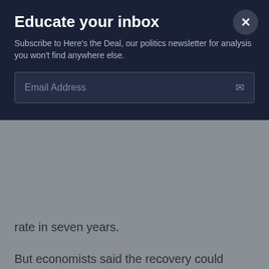Educate your inbox
Subscribe to Here's the Deal, our politics newsletter for analysis you won't find anywhere else.
Email Address
rate in seven years.
But economists said the recovery could quickly run out of steam because domestic demand remains weak. Salaries are falling and the unemployment rate has risen to a six-year high of 5.4 percent as companies such as Toyota Motor Corp. and Sony Corp. have cut thousands of jobs.